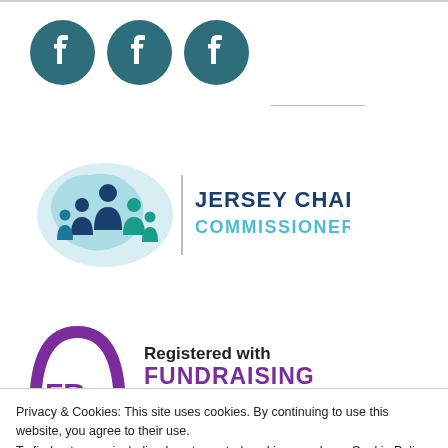[Figure (logo): Three Facebook icons (circle with 'f' logo) in dark teal/grey color, arranged horizontally]
[Figure (logo): Jersey Charity Commissioner logo with people silhouettes on a Jersey island map shape in blue, with vertical divider and text 'JERSEY CHARITY COMMISSIONER']
[Figure (logo): Fundraising Regulator logo: purple semicircle arch with 'FR' letters and text 'Registered with FUNDRAISING']
Privacy & Cookies: This site uses cookies. By continuing to use this website, you agree to their use.
To find out more, including how to control cookies, see here: Cookie Policy
Close and accept